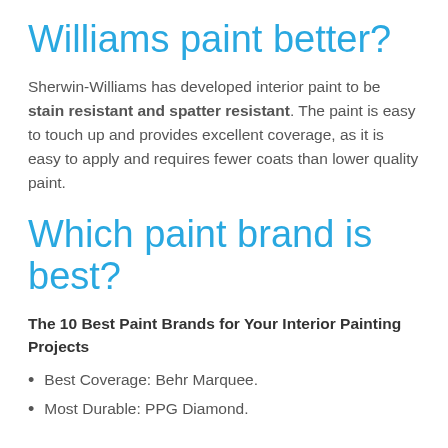Williams paint better?
Sherwin-Williams has developed interior paint to be stain resistant and spatter resistant. The paint is easy to touch up and provides excellent coverage, as it is easy to apply and requires fewer coats than lower quality paint.
Which paint brand is best?
The 10 Best Paint Brands for Your Interior Painting Projects
Best Coverage: Behr Marquee.
Most Durable: PPG Diamond.